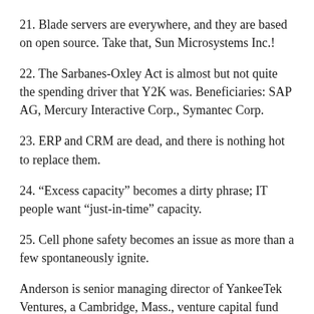21. Blade servers are everywhere, and they are based on open source. Take that, Sun Microsystems Inc.!
22. The Sarbanes-Oxley Act is almost but not quite the spending driver that Y2K was. Beneficiaries: SAP AG, Mercury Interactive Corp., Symantec Corp.
23. ERP and CRM are dead, and there is nothing hot to replace them.
24. “Excess capacity” becomes a dirty phrase; IT people want “just-in-time” capacity.
25. Cell phone safety becomes an issue as more than a few spontaneously ignite.
Anderson is senior managing director of YankeeTek Ventures, a Cambridge, Mass., venture capital fund for